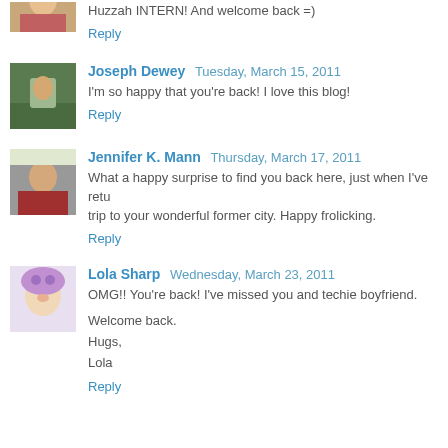Huzzah INTERN! And welcome back =)
Reply
Joseph Dewey  Tuesday, March 15, 2011
I'm so happy that you're back! I love this blog!
Reply
Jennifer K. Mann  Thursday, March 17, 2011
What a happy surprise to find you back here, just when I've retu... trip to your wonderful former city. Happy frolicking.
Reply
Lola Sharp  Wednesday, March 23, 2011
OMG!! You're back! I've missed you and techie boyfriend.

Welcome back.
Hugs,
Lola
Reply